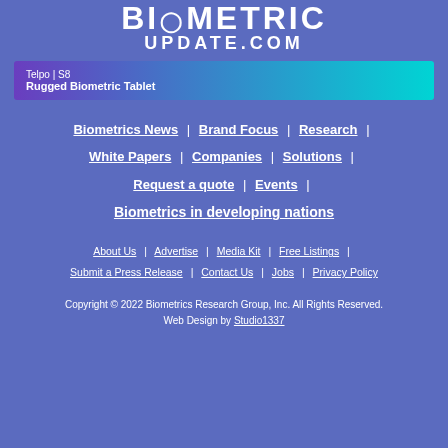[Figure (logo): BiometricUpdate.com logo in white text on blue background]
[Figure (illustration): Telpo S8 Rugged Biometric Tablet banner ad with gradient from purple to cyan]
Biometrics News | Brand Focus | Research |
White Papers | Companies | Solutions |
Request a quote | Events |
Biometrics in developing nations
About Us | Advertise | Media Kit | Free Listings |
Submit a Press Release | Contact Us | Jobs | Privacy Policy
Copyright © 2022 Biometrics Research Group, Inc. All Rights Reserved.
Web Design by Studio1337